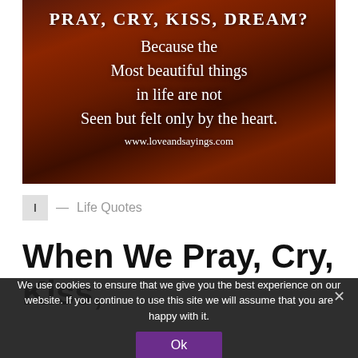[Figure (photo): Inspirational quote image on dark reddish-brown wood background: 'PRAY, CRY, KISS, DREAM? Because the Most beautiful things in life are not Seen but felt only by the heart. www.loveandsayings.com']
I — Life Quotes
When We Pray, Cry, Kiss,
We use cookies to ensure that we give you the best experience on our website. If you continue to use this site we will assume that you are happy with it.